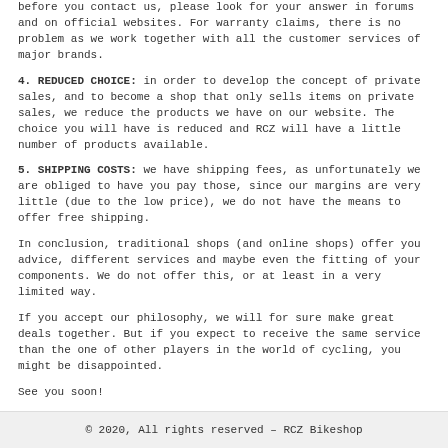before you contact us, please look for your answer in forums and on official websites. For warranty claims, there is no problem as we work together with all the customer services of major brands.
4. REDUCED CHOICE: in order to develop the concept of private sales, and to become a shop that only sells items on private sales, we reduce the products we have on our website. The choice you will have is reduced and RCZ will have a little number of products available.
5. SHIPPING COSTS: we have shipping fees, as unfortunately we are obliged to have you pay those, since our margins are very little (due to the low price), we do not have the means to offer free shipping.
In conclusion, traditional shops (and online shops) offer you advice, different services and maybe even the fitting of your components. We do not offer this, or at least in a very limited way.
If you accept our philosophy, we will for sure make great deals together. But if you expect to receive the same service than the one of other players in the world of cycling, you might be disappointed.
See you soon!
© 2020, All rights reserved – RCZ Bikeshop